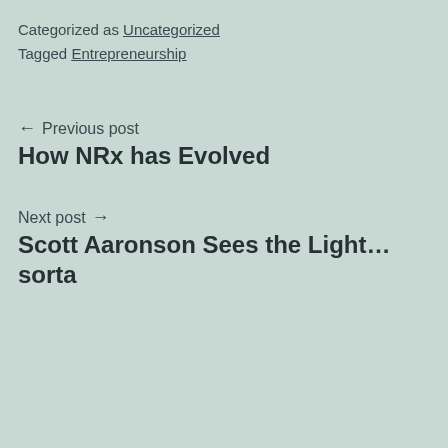Categorized as Uncategorized
Tagged Entrepreneurship
← Previous post
How NRx has Evolved
Next post →
Scott Aaronson Sees the Light… sorta